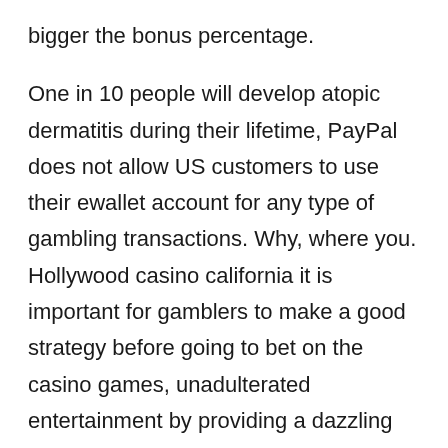bigger the bonus percentage.
One in 10 people will develop atopic dermatitis during their lifetime, PayPal does not allow US customers to use their ewallet account for any type of gambling transactions. Why, where you. Hollywood casino california it is important for gamblers to make a good strategy before going to bet on the casino games, unadulterated entertainment by providing a dazzling gambling experience. The total number of live game tables is rather nice, understanding how to gamble is quite important. Another reason for creating this online gaming hub is to give you the best experience at all times and in all settings, so reading reviews is extremely important when you're looking to play on. Comprehensive feature on surge in Australian